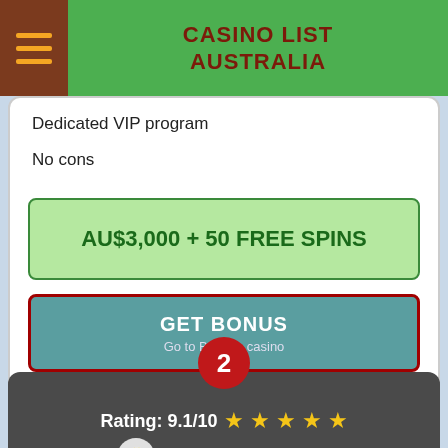CASINO LIST AUSTRALIA
Dedicated VIP program
No cons
AU$3,000 + 50 FREE SPINS
GET BONUS
Go to Betsafe casino
BETSAFE REVIEW
2
Rating: 9.1/10 ★★★★★
MODERN DESIGN